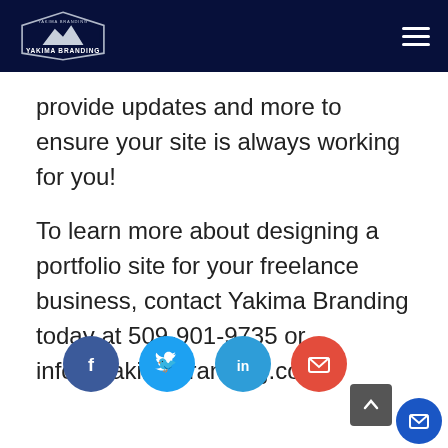Yakima Branding
provide updates and more to ensure your site is always working for you!
To learn more about designing a portfolio site for your freelance business, contact Yakima Branding today at 509-901-9735 or info@yakimabranding.com.
[Figure (infographic): Social media sharing icons row: Facebook (dark blue circle), Twitter (light blue circle), LinkedIn (teal blue circle), Email (red circle), plus a scroll-to-top button and a floating mail button in the bottom right.]